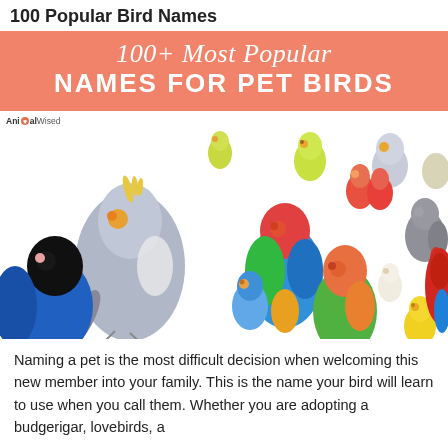100 Popular Bird Names
100+ Most Popular NAMES FOR PET BIRDS
[Figure (photo): Collage of various colorful pet birds including cockatiels, lovebirds, parrots, parakeets, and other species on a white background. AnimalWised logo in top-left corner.]
Naming a pet is the most difficult decision when welcoming this new member into your family. This is the name your bird will learn to use when you call them. Whether you are adopting a budgerigar, lovebirds, a